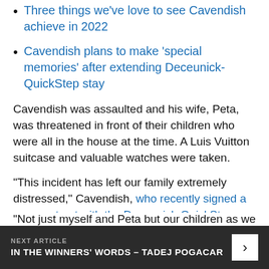Three things we've love to see Cavendish achieve in 2022
Cavendish plans to make 'special memories' after extending Deceunick-QuickStep stay
Cavendish was assaulted and his wife, Peta, was threatened in front of their children who were all in the house at the time. A Luis Vuitton suitcase and valuable watches were taken.
"This incident has left our family extremely distressed," Cavendish, who recently signed a new contract with the Deceunick-QuickStep team, wrote on social media shortly after the incident.
"Not just myself and Peta but our children as well who
NEXT ARTICLE
IN THE WINNERS' WORDS – TADEJ POGACAR